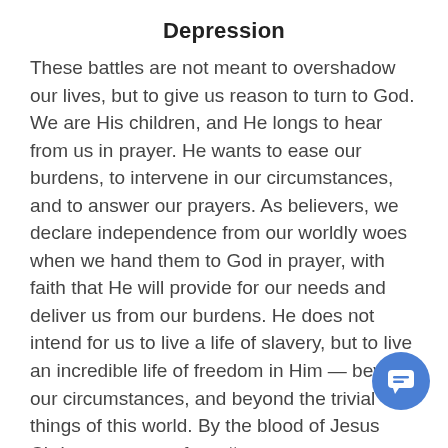Depression
These battles are not meant to overshadow our lives, but to give us reason to turn to God. We are His children, and He longs to hear from us in prayer. He wants to ease our burdens, to intervene in our circumstances, and to answer our prayers. As believers, we declare independence from our worldly woes when we hand them to God in prayer, with faith that He will provide for our needs and deliver us from our burdens. He does not intend for us to live a life of slavery, but to live an incredible life of freedom in Him — beyond our circumstances, and beyond the trivial things of this world. By the blood of Jesus Christ, we are set free. #amen
"You, my brothers and sisters, were called to